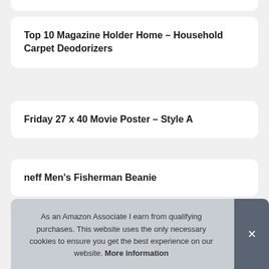Top 10 Magazine Holder Home – Household Carpet Deodorizers
Friday 27 x 40 Movie Poster – Style A
neff Men's Fisherman Beanie
T D
As an Amazon Associate I earn from qualifying purchases. This website uses the only necessary cookies to ensure you get the best experience on our website. More information